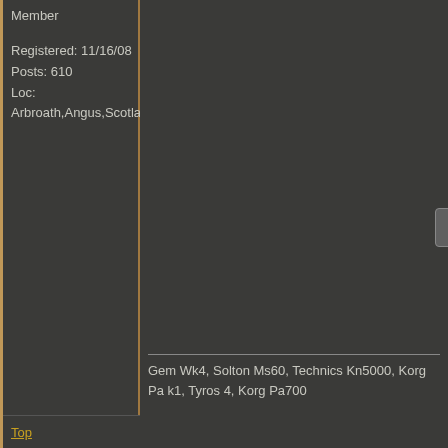Member
Registered: 11/16/08
Posts: 610
Loc:
Arbroath,Angus,Scotland
[Figure (screenshot): Plugin load error box reading 'Couldn't load plugin.' displayed in the right content area of a forum post]
Gem Wk4, Solton Ms60, Technics Kn5000, Korg Pa k1, Tyros 4, Korg Pa700
Top